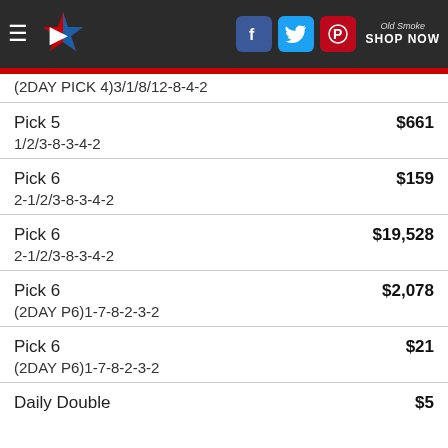Navigation bar with logo, social icons (Facebook, Twitter, Pinterest), and Old Smoke Shop Now
(2DAY PICK 4)3/1/8/12-8-4-2
Pick 5  $661
1/2/3-8-3-4-2
Pick 6  $159
2-1/2/3-8-3-4-2
Pick 6  $19,528
2-1/2/3-8-3-4-2
Pick 6  $2,078
(2DAY P6)1-7-8-2-3-2
Pick 6  $21
(2DAY P6)1-7-8-2-3-2
Daily Double  $5